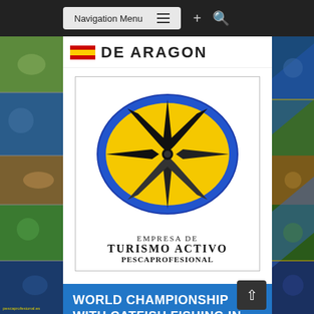[Figure (screenshot): Website screenshot of PescaProfesional active tourism company from Aragon, showing navigation menu bar, logo with compass rose on yellow oval with blue border, text 'Empresa de Turismo Activo Pescaprofesional', blue banner with title 'World Championship with Catfish Fishing in Chiprana Pellets', surrounded by fishing photo collage]
Navigation Menu
DE ARAGON
[Figure (logo): Empresa de Turismo Activo Pescaprofesional logo: black compass rose star on yellow oval with blue border, text below reads 'EMPRESA DE TURISMO ACTIVO PESCAPROFESIONAL']
WORLD CHAMPIONSHIP WITH CATFISH FISHING IN CHIPRANA PELLETS